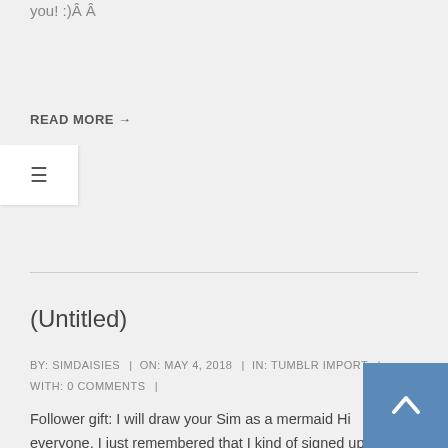you! :)Â Â
READ MORE →
(Untitled)
BY: SIMDAISIES | ON: MAY 4, 2018 | IN: TUMBLR IMPORT | WITH: 0 COMMENTS |
Follower gift: I will draw your Sim as a mermaid Hi everyone. I just remembered that I kind of signed up for #Mermay. Obviously Iâ€™m not drawing a mermaid every day this month, but Iâ€™d like to draw some mermaids. Because mermaids.Â So... I didnâ€™t have a 900 follower gift idea until now.Â Send me your Sim. Any Sim, from any of the Sims games. If you want